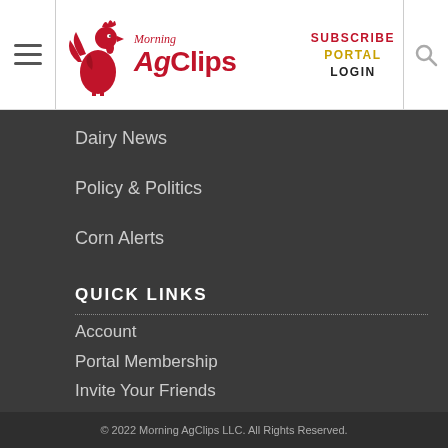Morning AgClips — SUBSCRIBE PORTAL LOGIN
Dairy News
Policy & Politics
Corn Alerts
QUICK LINKS
Account
Portal Membership
Invite Your Friends
Subscribe to RSS
WeatherTrends
Just Me, Kate
© 2022 Morning AgClips LLC. All Rights Reserved.